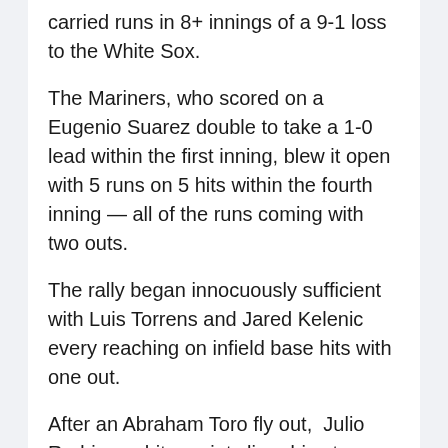carried runs in 8+ innings of a 9-1 loss to the White Sox.
The Mariners, who scored on a Eugenio Suarez double to take a 1-0 lead within the first inning, blew it open with 5 runs on 5 hits within the fourth inning — all of the runs coming with two outs.
The rally began innocuously sufficient with Luis Torrens and Jared Kelenic every reaching on infield base hits with one out.
After an Abraham Toro fly out,  Julio Rodriguez hit a pointy line drive to middle to attain Torrens and make it 2-0. It was the primary profession run batted in for Rodriguez.
After Torrens also...